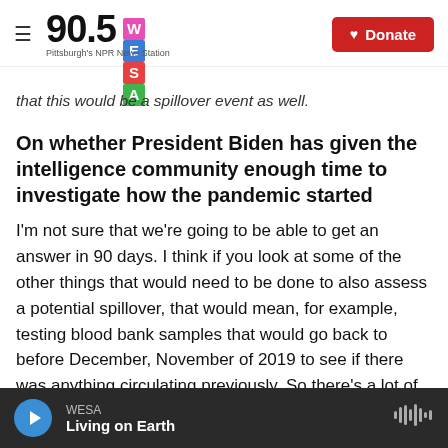90.5 WESA - Pittsburgh's NPR News Station | Donate
that this would be a spillover event as well.
On whether President Biden has given the intelligence community enough time to investigate how the pandemic started
I'm not sure that we're going to be able to get an answer in 90 days. I think if you look at some of the other things that would need to be done to also assess a potential spillover, that would mean, for example, testing blood bank samples that would go back to before December, November of 2019 to see if there was anything circulating previously. So there's a lot of work. I don't know if 90 days is
WESA — Living on Earth